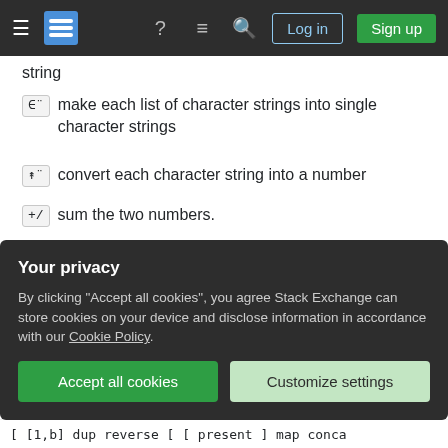[Figure (screenshot): Stack Exchange navigation bar with hamburger menu, logo, help, chat, search icons, Log in and Sign up buttons]
string
∈¨  make each list of character strings into single character strings
↟¨  convert each character string into a number
+/  sum the two numbers.
Share
Improve this answer
Follow
edited Jun 17, 2020 at 9:04
Community Bot 1
answered Feb 22, 2016 at 23:30
Adám
Your privacy
By clicking "Accept all cookies", you agree Stack Exchange can store cookies on your device and disclose information in accordance with our Cookie Policy.
Accept all cookies
Customize settings
[ [1,b] dup reverse [ [ present ] map conca